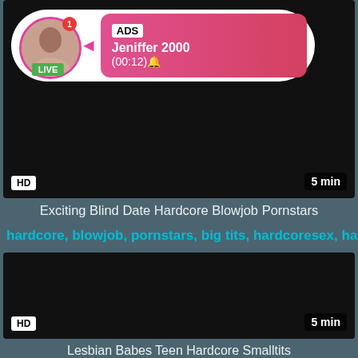[Figure (screenshot): Video thumbnail with live ad overlay showing profile picture with LIVE badge, ADS label, username Jeniffer 2000, timestamp (00:12), HD badge, and 5 min duration]
Exciting Blind Date Hardcore Blowjob Pornstars
hardcore, blowjob, pornstars, big tits, hardcoresex, hardc...
[Figure (screenshot): Dark video thumbnail with HD badge and 5 min duration label]
Lesbian Babes Teen Hardcore Smalltits